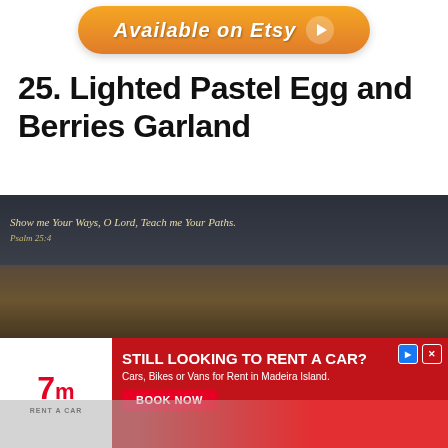[Figure (other): Etsy orange pill-shaped button with text 'Available on Etsy' and a play arrow icon]
25. Lighted Pastel Egg and Berries Garland
[Figure (photo): Photo of a lighted pastel egg and berries garland decoration on a mantel. A Pinterest Save button is overlaid at left, and a scripture banner reads 'Show me Your Ways O Lord, Teach me Your Paths. Psalm 25:4' in the background. A Next navigation arrow button appears at right edge.]
[Figure (other): Advertisement banner: 7m Rent a Car logo on white background at left. Red background on right with text 'STILL LOOKING TO RENT A CAR? Cars, Bikes or Vans for Rent in Madeira Island.' and a BOOK NOW button. Two cars shown at bottom.]